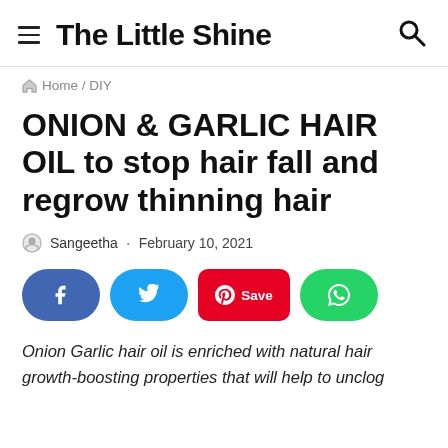The Little Shine
Home / DIY
ONION & GARLIC HAIR OIL to stop hair fall and regrow thinning hair
Sangeetha · February 10, 2021
[Figure (other): Social share buttons: Facebook (blue), Twitter (light blue), Pinterest (red with Save label), WhatsApp (green)]
Onion Garlic hair oil is enriched with natural hair growth-boosting properties that will help to unclog